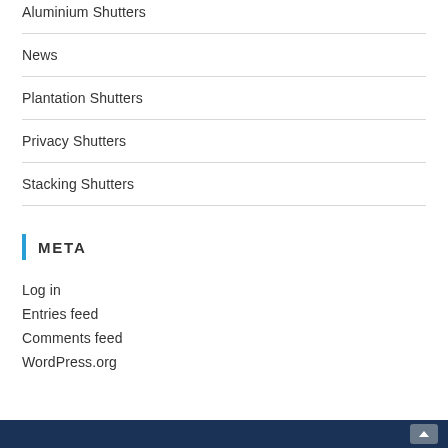Aluminium Shutters
News
Plantation Shutters
Privacy Shutters
Stacking Shutters
Meta
Log in
Entries feed
Comments feed
WordPress.org